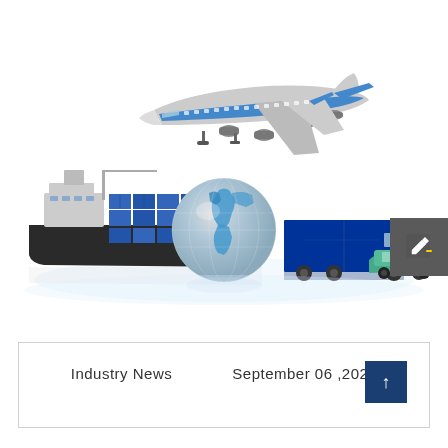[Figure (illustration): Global logistics illustration showing a cargo ship loaded with blue containers, a globe in the center, a large commercial airplane flying above, a blue semi-truck trailer, and a green car, all arranged on a white reflective surface.]
Industry News          September 06 ,2021